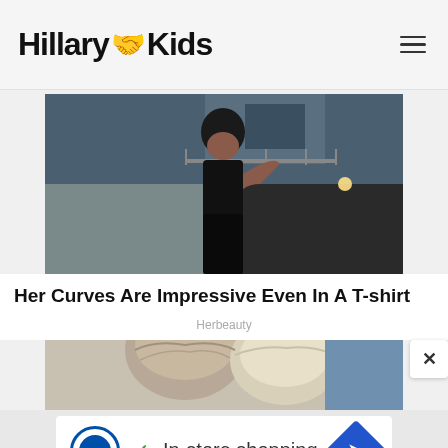HillaryKids
[Figure (photo): Woman in black crop top and black skirt posing outdoors in front of a building]
Her Curves Are Impressive Even In A T-shirt
Herbeauty
[Figure (photo): Close-up of two people with grey/blonde hair visible from behind]
[Figure (screenshot): Advertisement banner featuring Lidl logo with checkmark, text 'In-store shopping', and blue navigation diamond icon]